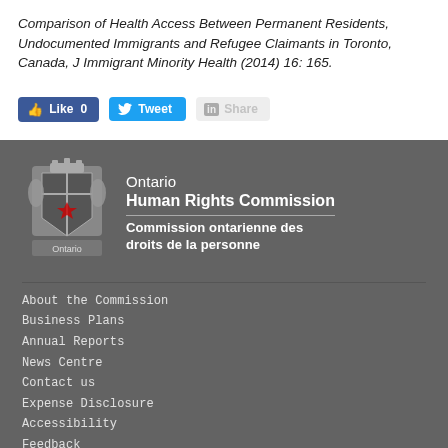Comparison of Health Access Between Permanent Residents, Undocumented Immigrants and Refugee Claimants in Toronto, Canada, J Immigrant Minority Health (2014) 16: 165.
[Figure (other): Social media sharing buttons: Facebook Like (0), Twitter Tweet, LinkedIn Share]
[Figure (logo): Ontario Human Rights Commission / Commission ontarienne des droits de la personne logo with Ontario coat of arms]
About the Commission
Business Plans
Annual Reports
News Centre
Contact us
Expense Disclosure
Accessibility
Feedback
Privacy Statement
© Queen's Printer for Ontario
Open Data